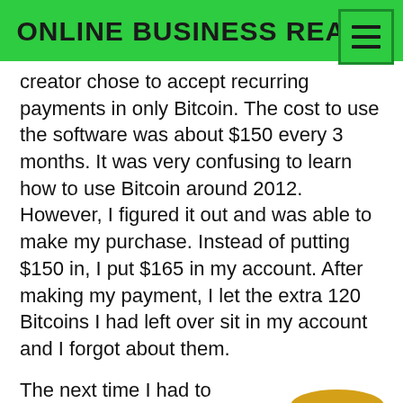ONLINE BUSINESS REALM
creator chose to accept recurring payments in only Bitcoin. The cost to use the software was about $150 every 3 months. It was very confusing to learn how to use Bitcoin around 2012. However, I figured it out and was able to make my purchase. Instead of putting $150 in, I put $165 in my account. After making my payment, I let the extra 120 Bitcoins I had left over sit in my account and I forgot about them.
The next time I had to make my payment, I used a different platform. Several months later, I went back...
[Figure (illustration): Facepalm emoji - a person with their hand over their face]